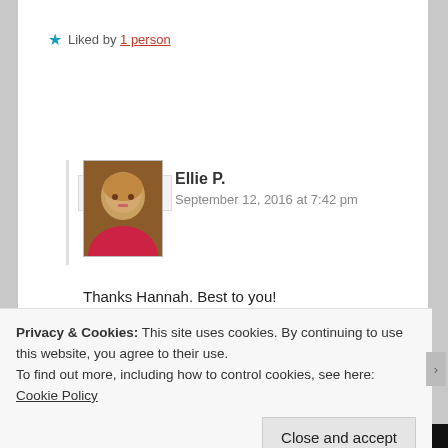★ Liked by 1 person
REPLY
Ellie P.
September 12, 2016 at 7:42 pm
Thanks Hannah. Best to you!
★ Liked by 1 person
[Figure (screenshot): Dark ad bar with red 'Start Reading' button]
Privacy & Cookies: This site uses cookies. By continuing to use this website, you agree to their use.
To find out more, including how to control cookies, see here: Cookie Policy
Close and accept
[Figure (screenshot): Bottom ad bar with 'All in One Free App' and 'DuckDuckGo' text]